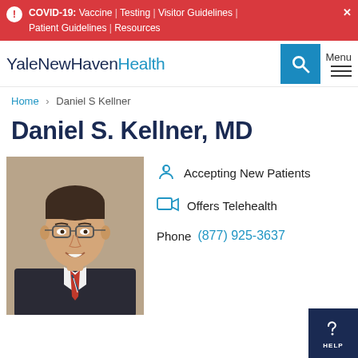COVID-19: Vaccine | Testing | Visitor Guidelines | Patient Guidelines | Resources
[Figure (logo): YaleNewHavenHealth logo with search button and menu]
Home > Daniel S Kellner
Daniel S. Kellner, MD
[Figure (photo): Professional headshot of Dr. Daniel S. Kellner, MD, wearing glasses, suit and striped tie]
Accepting New Patients
Offers Telehealth
Phone (877) 925-3637